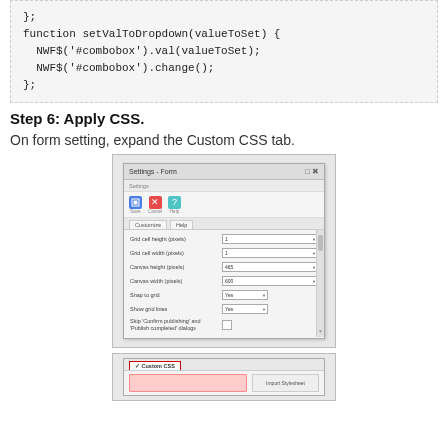};
function setValToDropdown(valueToSet) {
  NWFS('#combobox').val(valueToSet);
  NWFS('#combobox').change();
};
Step 6: Apply CSS.
On form setting, expand the Custom CSS tab.
[Figure (screenshot): Settings - Form dialog showing form configuration fields including Grid cell height, Grid cell width, Canvas height, Canvas width, Snap to grid, Show grid lines, and Skip Confirm publishing dialog options with a scrollbar on the right.]
[Figure (screenshot): Settings dialog showing Custom CSS tab highlighted/selected in red border, with content area below showing a red-highlighted input section and Import Stylesheet button on the right.]